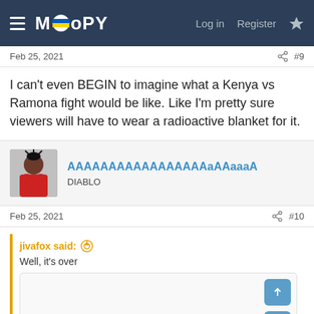MOOPY — Log in | Register
Feb 25, 2021  #9
I can't even BEGIN to imagine what a Kenya vs Ramona fight would be like. Like I'm pretty sure viewers will have to wear a radioactive blanket for it.
AAAAAAAAAAAAAAAAAaAAaaaA  DIABLO
Feb 25, 2021  #10
jivafox said:  Well, it's over